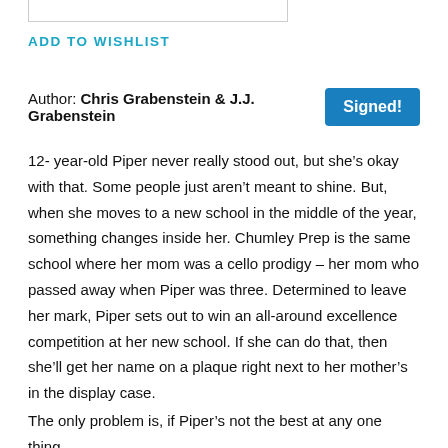ADD TO WISHLIST
Author: Chris Grabenstein & J.J. Grabenstein   Signed!
12- year-old Piper never really stood out, but she’s okay with that. Some people just aren’t meant to shine. But, when she moves to a new school in the middle of the year, something changes inside her. Chumley Prep is the same school where her mom was a cello prodigy – her mom who passed away when Piper was three. Determined to leave her mark, Piper sets out to win an all-around excellence competition at her new school. If she can do that, then she’ll get her name on a plaque right next to her mother’s in the display case.
The only problem is, if Piper’s not the best at any one thing,